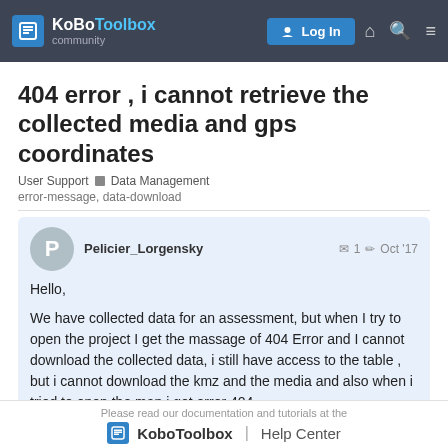[Figure (screenshot): KoBoToolbox community navigation bar with logo, Log In button, home, search, and menu icons on dark background]
404 error , i cannot retrieve the collected media and gps coordinates
User Support  Data Management
error-message, data-download
Pelicier_Lorgensky  1  Oct '17
Hello,

We have collected data for an assessment, but when I try to open the project I get the massage of 404 Error and I cannot download the collected data, i still have access to the table , but i cannot download the kmz and the media and also when i tried to open the map i got error 404
Please read our documentation and tutorials at the KoBoToolbox | Help Center